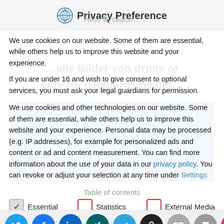Privacy Preference
We use cookies on our website. Some of them are essential, while others help us to improve this website and your experience.
If you are under 16 and wish to give consent to optional services, you must ask your legal guardians for permission.
We use cookies and other technologies on our website. Some of them are essential, while others help us to improve this website and your experience. Personal data may be processed (e.g. IP addresses), for example for personalized ads and content or ad and content measurement. You can find more information about the use of your data in our privacy policy. You can revoke or adjust your selection at any time under Settings
Table of contents
Essential
Statistics
External Media
[Figure (infographic): Row of social share icons: Twitter (blue), Facebook (dark blue), LinkedIn (blue), Xing (teal), Telegram (light blue), secure/key (dark), email (grey), print (grey), PDF (red)]